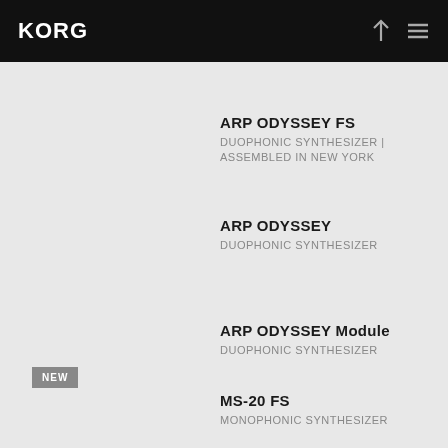KORG
ARP ODYSSEY FS
DUOPHONIC SYNTHESIZER | ASSEMBLED IN NEW YORK
ARP ODYSSEY
DUOPHONIC SYNTHESIZER
ARP ODYSSEY Module
DUOPHONIC SYNTHESIZER
NEW
MS-20 FS
MONOPHONIC SYNTHESIZER